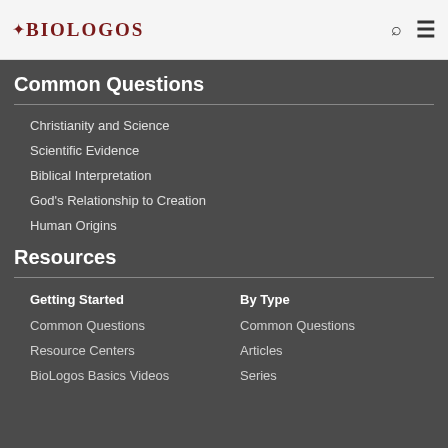BioLogos
Common Questions
Christianity and Science
Scientific Evidence
Biblical Interpretation
God's Relationship to Creation
Human Origins
Resources
Getting Started
By Type
Common Questions
Common Questions
Resource Centers
Articles
BioLogos Basics Videos
Series